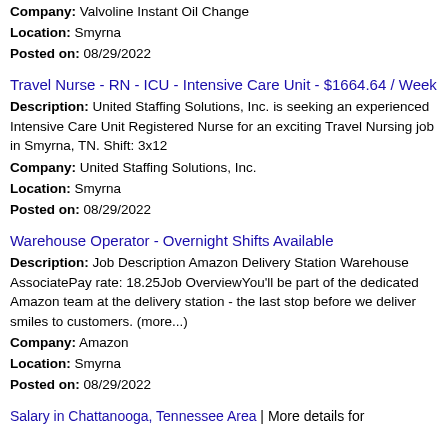Company: Valvoline Instant Oil Change
Location: Smyrna
Posted on: 08/29/2022
Travel Nurse - RN - ICU - Intensive Care Unit - $1664.64 / Week
Description: United Staffing Solutions, Inc. is seeking an experienced Intensive Care Unit Registered Nurse for an exciting Travel Nursing job in Smyrna, TN. Shift: 3x12
Company: United Staffing Solutions, Inc.
Location: Smyrna
Posted on: 08/29/2022
Warehouse Operator - Overnight Shifts Available
Description: Job Description Amazon Delivery Station Warehouse AssociatePay rate: 18.25Job OverviewYou'll be part of the dedicated Amazon team at the delivery station - the last stop before we deliver smiles to customers. (more...)
Company: Amazon
Location: Smyrna
Posted on: 08/29/2022
Salary in Chattanooga, Tennessee Area | More details for